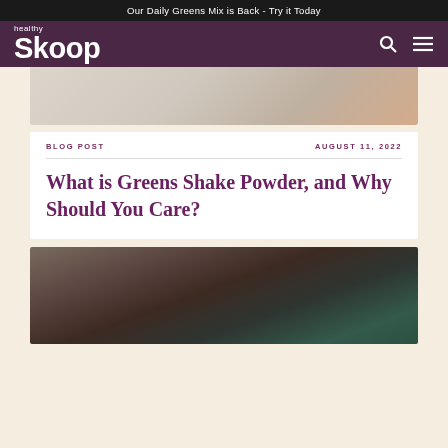Our Daily Greens Mix is Back - Try it Today
healthy Skoop
[Figure (photo): Partial top view of a marble surface with a hand or object, cropped hero image]
BLOG POST
AUGUST 11, 2022
What is Greens Shake Powder, and Why Should You Care?
[Figure (photo): Close-up photo of a person's neck/shoulder area holding something, with teal/green background, partially visible]